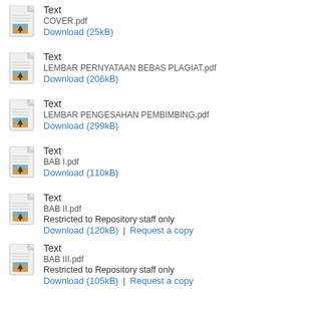[Figure (illustration): Document icon with thumbnail image (tree)]
Text
COVER.pdf
Download (25kB)
[Figure (illustration): Document icon with thumbnail image (tree)]
Text
LEMBAR PERNYATAAN BEBAS PLAGIAT.pdf
Download (206kB)
[Figure (illustration): Document icon with thumbnail image (tree)]
Text
LEMBAR PENGESAHAN PEMBIMBING.pdf
Download (299kB)
[Figure (illustration): Document icon with thumbnail image (tree)]
Text
BAB I.pdf
Download (110kB)
[Figure (illustration): Document icon with thumbnail image (tree)]
Text
BAB II.pdf
Restricted to Repository staff only
Download (120kB) | Request a copy
[Figure (illustration): Document icon with thumbnail image (tree)]
Text
BAB III.pdf
Restricted to Repository staff only
Download (105kB) | Request a copy